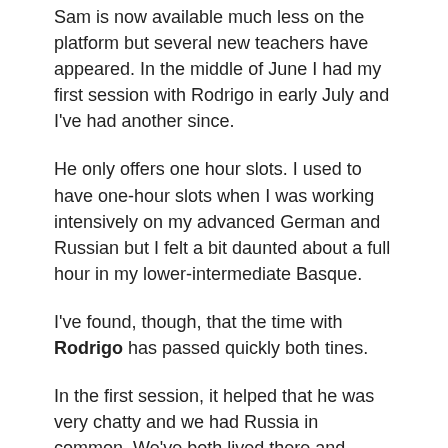Sam is now available much less on the platform but several new teachers have appeared. In the middle of June I had my first session with Rodrigo in early July and I've had another since.
He only offers one hour slots. I used to have one-hour slots when I was working intensively on my advanced German and Russian but I felt a bit daunted about a full hour in my lower-intermediate Basque.
I've found, though, that the time with Rodrigo has passed quickly both tines.
In the first session, it helped that he was very chatty and we had Russia in common. We've both lived there and learned the language.
In the second lesson we did more free conversation and I